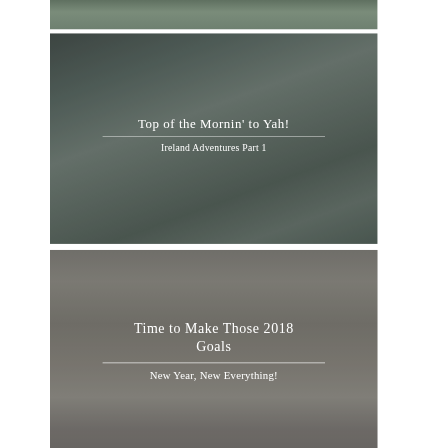[Figure (photo): Partial top image showing a couple outdoors on green grass, cropped at top of page]
[Figure (photo): Photo of a smiling couple wearing winter hats, appearing to be taking a selfie, with a bridge and city in background. Overlay text reads 'Top of the Mornin' to Yah!' with divider line and 'Ireland Adventures Part 1']
Top of the Mornin' to Yah!
Ireland Adventures Part 1
[Figure (photo): Photo of a person standing in front of stone arched ruins or old stone building. Overlay text reads 'Time to Make Those 2018 Goals' with divider line and 'New Year, New Everything!']
Time to Make Those 2018 Goals
New Year, New Everything!